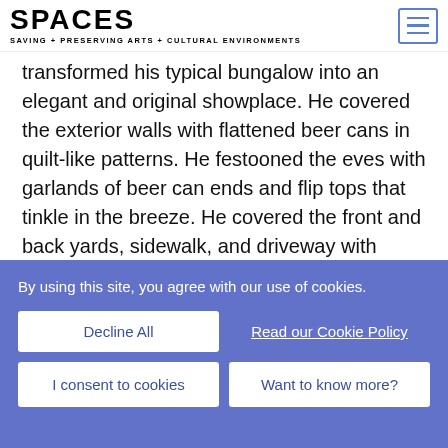SPACES — SAVING + PRESERVING ARTS + CULTURAL ENVIRONMENTS
transformed his typical bungalow into an elegant and original showplace. He covered the exterior walls with flattened beer cans in quilt-like patterns. He festooned the eves with garlands of beer can ends and flip tops that tinkle in the breeze. He covered the front and back yards, sidewalk, and driveway with inlaid concrete, punctuated with raised garden beds and other flourishes.
Naturally, 222 Malone became known as the Beer Can House. Milkovisch was a talented artist and craftsman with a keen eye for the formal elements of color, pattern
By using this site, you agree with our use of cookies.
Decline All
Read our Cookie Policy
I consent to cookies
Want to know more?